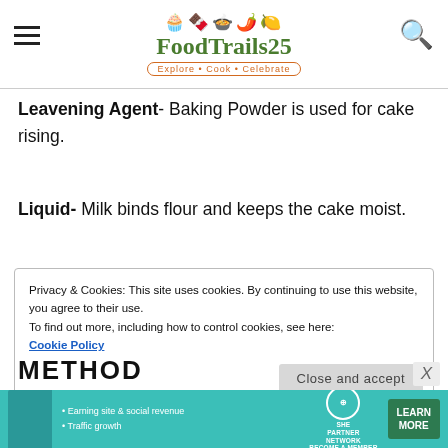FoodTrails25 — Explore · Cook · Celebrate
Leavening Agent- Baking Powder is used for cake rising.
Liquid- Milk binds flour and keeps the cake moist.
Privacy & Cookies: This site uses cookies. By continuing to use this website, you agree to their use. To find out more, including how to control cookies, see here: Cookie Policy
METHOD